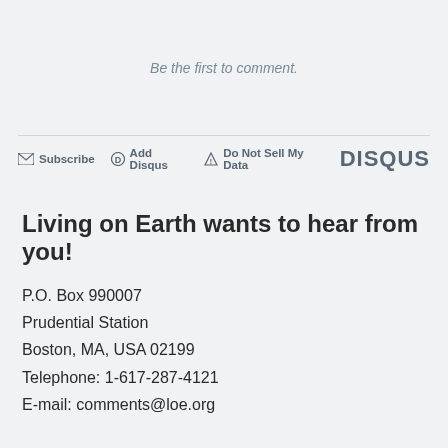Be the first to comment.
Subscribe  Add Disqus  Do Not Sell My Data  DISQUS
Living on Earth wants to hear from you!
P.O. Box 990007
Prudential Station
Boston, MA, USA 02199
Telephone: 1-617-287-4121
E-mail: comments@loe.org